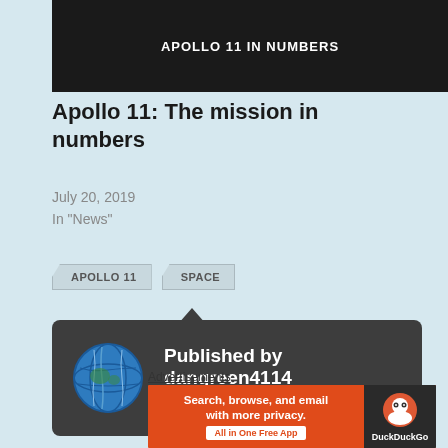[Figure (photo): Dark banner image with text 'APOLLO 11 IN NUMBERS' in white bold letters on black background]
Apollo 11: The mission in numbers
July 20, 2019
In "News"
APOLLO 11
SPACE
Published by dangreen4114
View all posts by dangreen4114
Advertisements
[Figure (screenshot): DuckDuckGo advertisement banner: red background with text 'Search, browse, and email with more privacy. All in One Free App' and DuckDuckGo logo on dark right panel]